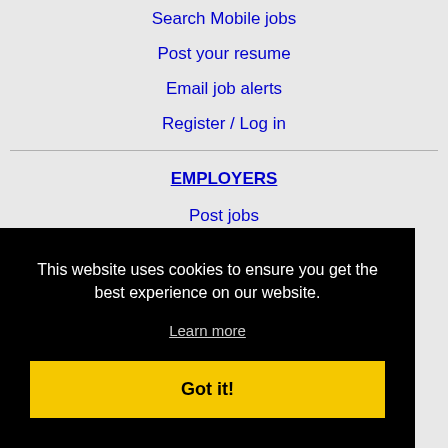Search Mobile jobs
Post your resume
Email job alerts
Register / Log in
EMPLOYERS
Post jobs
Search resumes
This website uses cookies to ensure you get the best experience on our website.
Learn more
Got it!